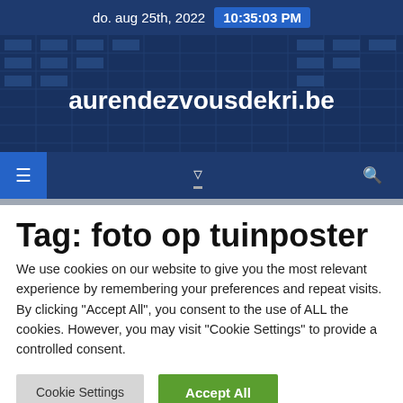do. aug 25th, 2022  10:35:03 PM
[Figure (screenshot): Website banner with dark blue background showing building glass facade, with bold white text: aurendezvousdekri.be]
[Figure (screenshot): Navigation bar with dark blue background, active menu icon highlighted in blue on left, center icon with underline, and search icon on right]
Tag: foto op tuinposter
We use cookies on our website to give you the most relevant experience by remembering your preferences and repeat visits. By clicking "Accept All", you consent to the use of ALL the cookies. However, you may visit "Cookie Settings" to provide a controlled consent.
Cookie Settings  Accept All